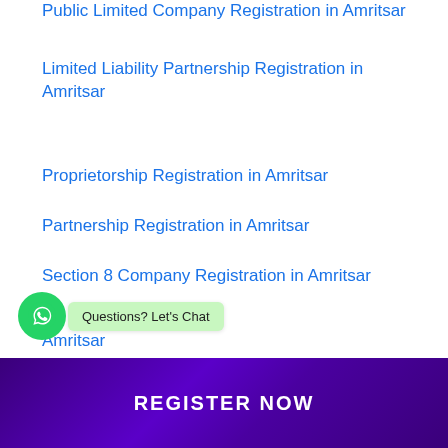Public Limited Company Registration in Amritsar
Limited Liability Partnership Registration in Amritsar
Proprietorship Registration in Amritsar
Partnership Registration in Amritsar
Section 8 Company Registration in Amritsar
...or Registration in Amritsar
Questions? Let's Chat
REGISTER NOW